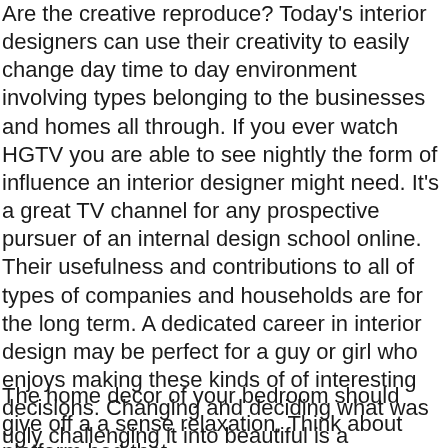Are the creative reproduce? Today's interior designers can use their creativity to easily change day time to day environment involving types belonging to the businesses and homes all through. If you ever watch HGTV you are able to see nightly the form of influence an interior designer might need. It's a great TV channel for any prospective pursuer of an internal design school online. Their usefulness and contributions to all of types of companies and households are for the long term. A dedicated career in interior design may be perfect for a guy or girl who enjoys making these kinds of of interesting decisions. Changing and deciding what was ugly challenging it into beautiful is a rewarding career to take.
The home decor of your bedroom should give off a a sense relaxation. Think about platform bed that